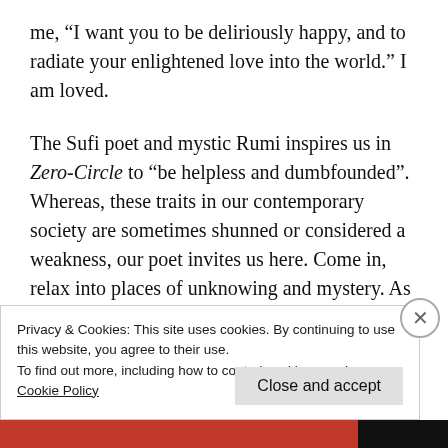me, “I want you to be deliriously happy, and to radiate your enlightened love into the world.” I am loved.
The Sufi poet and mystic Rumi inspires us in Zero-Circle to “be helpless and dumbfounded”. Whereas, these traits in our contemporary society are sometimes shunned or considered a weakness, our poet invites us here. Come in, relax into places of unknowing and mystery. As we lean in to this emptiness and the
Privacy & Cookies: This site uses cookies. By continuing to use this website, you agree to their use.
To find out more, including how to control cookies, see here:
Cookie Policy
Close and accept